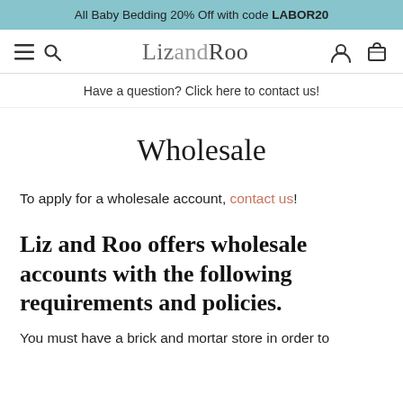All Baby Bedding 20% Off with code LABOR20
[Figure (screenshot): Navigation bar with hamburger menu, search icon, LizandRoo logo, user account icon, and cart icon]
Have a question? Click here to contact us!
Wholesale
To apply for a wholesale account, contact us!
Liz and Roo offers wholesale accounts with the following requirements and policies.
You must have a brick and mortar store in order to